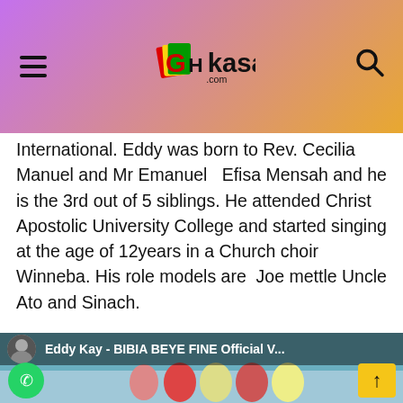GHkasa.com
International. Eddy was born to Rev. Cecilia Manuel and Mr Emanuel  Efisa Mensah and he is the 3rd out of 5 siblings. He attended Christ Apostolic University College and started singing at the age of 12years in a Church choir Winneba. His role models are  Joe mettle Uncle Ato and Sinach.
Follow him on all social media platforms @Eddy Kay Ministries
Kindly click on the link below to watch his latest video Bibia Beye Fine
[Figure (screenshot): YouTube video thumbnail showing Eddy Kay - BIBIA BEYE FINE Official V... with colorful background, avatar thumbnail on left, and up-arrow button on right]